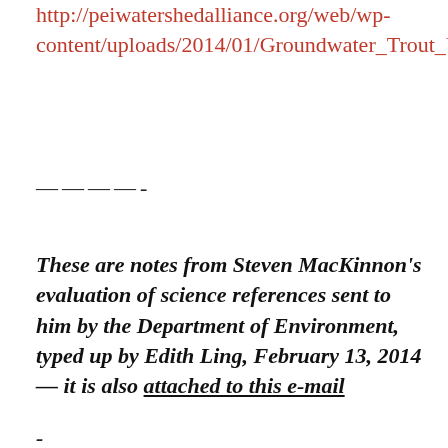http://peiwatershedalliance.org/web/wp-content/uploads/2014/01/Groundwater_Trout_Unlimited.pdf
————-
These are notes from Steven MacKinnon's evaluation of science references sent to him by the Department of Environment, typed up by Edith Ling, February 13, 2014 — it is also attached to this e-mail
-